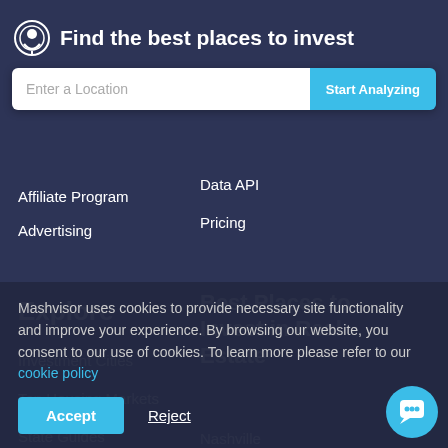Find the best places to invest
Enter a Location
Start Analyzing
Affiliate Program
Advertising
Data API
Pricing
Explore
Best Places to Invest in Real Estate
Investment Cities
Top Housing Markets
State Guides
Nashville
Mashvisor uses cookies to provide necessary site functionality and improve your experience. By browsing our website, you consent to our use of cookies. To learn more please refer to our cookie policy
Accept
Reject